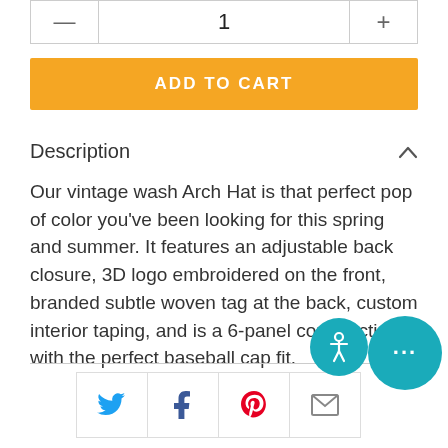— 1 +
ADD TO CART
Description
Our vintage wash Arch Hat is that perfect pop of color you've been looking for this spring and summer. It features an adjustable back closure, 3D logo embroidered on the front, branded subtle woven tag at the back, custom interior taping, and is a 6-panel construction with the perfect baseball cap fit.
[Figure (infographic): Accessibility icon circle (teal) and chat circle (teal with ellipsis)]
[Figure (infographic): Social sharing buttons: Twitter, Facebook, Pinterest, Email]